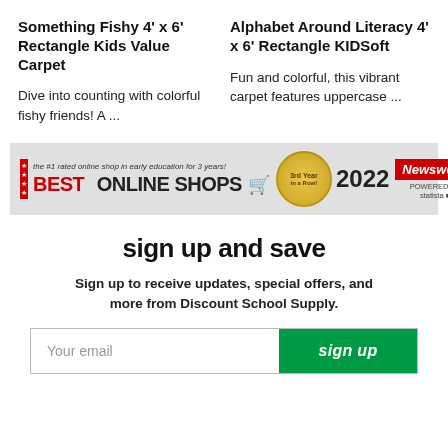Something Fishy 4' x 6' Rectangle Kids Value Carpet
Alphabet Around Literacy 4' x 6' Rectangle KIDSoft
Dive into counting with colorful fishy friends! A ...
Fun and colorful, this vibrant carpet features uppercase ...
[Figure (infographic): Best Online Shops 2022 award banner by Newsweek and Statista, with red stars, gold seal reading '3rd Year in a Row!', and Newsweek logo.]
sign up and save
Sign up to receive updates, special offers, and more from Discount School Supply.
Your email | sign up